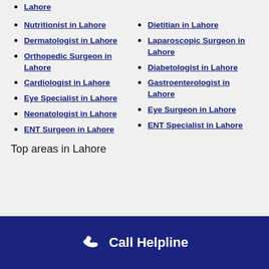Lahore
Nutritionist in Lahore
Dietitian in Lahore
Dermatologist in Lahore
Laparoscopic Surgeon in Lahore
Orthopedic Surgeon in Lahore
Diabetologist in Lahore
Cardiologist in Lahore
Gastroenterologist in Lahore
Eye Specialist in Lahore
Eye Surgeon in Lahore
Neonatologist in Lahore
ENT Specialist in Lahore
ENT Surgeon in Lahore
Top areas in Lahore
Call Helpline